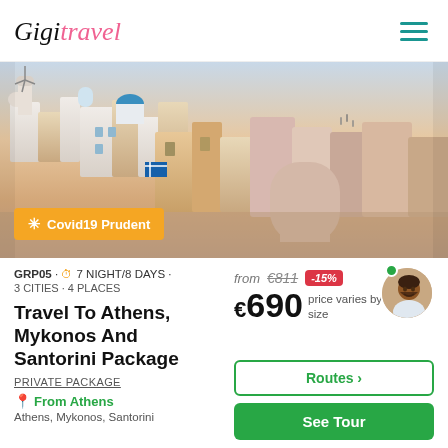GigiTravel
[Figure (photo): Aerial view of white-washed buildings in Santorini/Mykonos, Greece, with windmills and blue-domed churches. Covid19 Prudent badge overlaid on lower left.]
GRP05 · 7 NIGHT/8 DAYS · 3 CITIES · 4 PLACES
Travel To Athens, Mykonos And Santorini Package
PRIVATE PACKAGE
From Athens
Athens, Mykonos, Santorini
from €811 -15%
€690 price varies by group size
Routes
See Tour